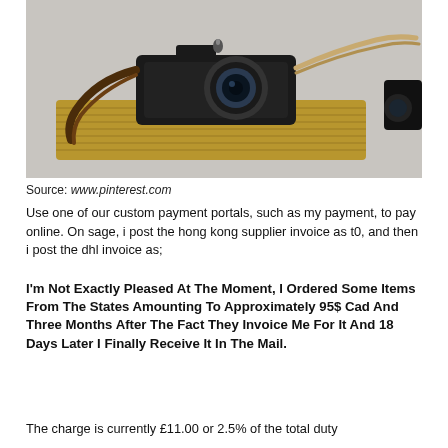[Figure (photo): A vintage camera with leather strap resting on a wooden plank surface, photographed against a light grey background. Part of a second camera or lens is visible at the right edge.]
Source: www.pinterest.com
Use one of our custom payment portals, such as my payment, to pay online. On sage, i post the hong kong supplier invoice as t0, and then i post the dhl invoice as;
I'm Not Exactly Pleased At The Moment, I Ordered Some Items From The States Amounting To Approximately 95$ Cad And Three Months After The Fact They Invoice Me For It And 18 Days Later I Finally Receive It In The Mail.
The charge is currently £11.00 or 2.5% of the total duty